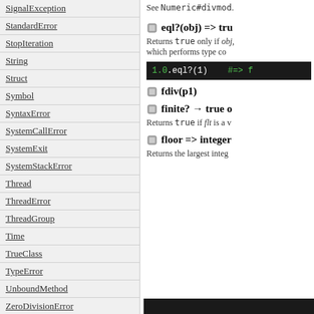SignalException
StandardError
StopIteration
String
Struct
Symbol
SyntaxError
SystemCallError
SystemExit
SystemStackError
Thread
ThreadError
ThreadGroup
Time
TrueClass
TypeError
UnboundMethod
ZeroDivisionError
fatal
unknown
See Numeric#divmod.
eql?(obj) => tru
Returns true only if obj, which performs type co
[Figure (screenshot): Code block showing: 1.0.eql?(1)   #=> f]
fdiv(p1)
finite? → true o
Returns true if flt is a v
floor => integer
Returns the largest integ
[Figure (screenshot): Dark code block at bottom]